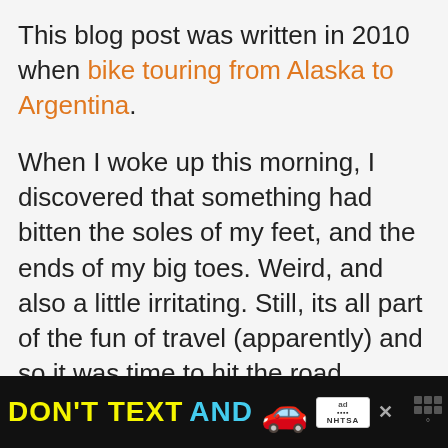This blog post was written in 2010 when bike touring from Alaska to Argentina.
When I woke up this morning, I discovered that something had bitten the soles of my feet, and the ends of my big toes. Weird, and also a little irritating. Still, its all part of the fun of travel (apparently) and so it was time to hit the road.
[Figure (other): Advertisement banner: DON'T TEXT AND [car emoji] with ad badge and NHTSA logo on black background]